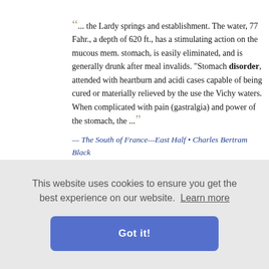... the Lardy springs and establishment. The water, 77 Fahr., a depth of 620 ft., has a stimulating action on the mucous mem. stomach, is easily eliminated, and is generally drunk after meal invalids. "Stomach disorder, attended with heartburn and acidi cases capable of being cured or materially relieved by the use the Vichy waters. When complicated with pain (gastralgia) and power of the stomach, the ...
— The South of France—East Half • Charles Bertram Black
▸ Read full book for free!
... do justice even to the men whose brutal violence she stig reproves. In the case of Anne do Montmorency it often took the en he came uch an one ikes and a ll those ra
nes - Volu
▸ Read full book for free!
This website uses cookies to ensure you get the best experience on our website. Learn more
Got it!